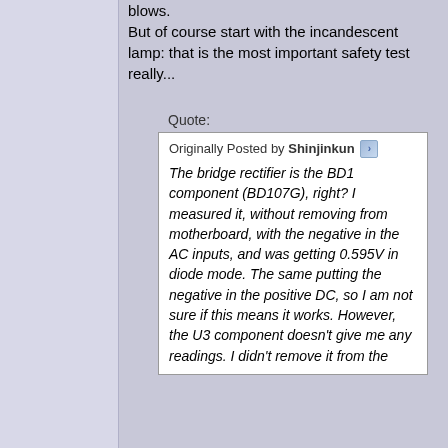blows.
But of course start with the incandescent lamp: that is the most important safety test really...
Quote:
Originally Posted by Shinjinkun
The bridge rectifier is the BD1 component (BD107G), right? I measured it, without removing from motherboard, with the negative in the AC inputs, and was getting 0.595V in diode mode. The same putting the negative in the positive DC, so I am not sure if this means it works. However, the U3 component doesn't give me any readings. I didn't remove it from the...